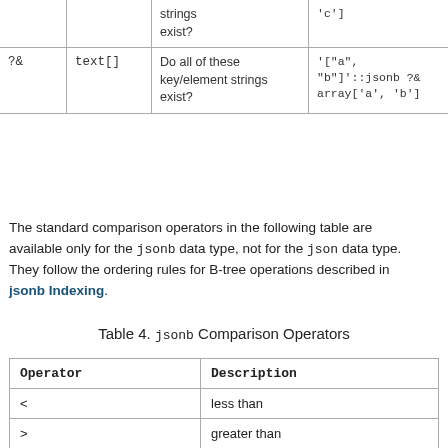|  |  | Description | Example |
| --- | --- | --- | --- |
|  |  | strings exist? | 'c'] |
| ?& | text[] | Do all of these key/element strings exist? | '["a", "b"]'::jsonb ?& array['a', 'b'] |
The standard comparison operators in the following table are available only for the jsonb data type, not for the json data type. They follow the ordering rules for B-tree operations described in jsonb Indexing.
Table 4. jsonb Comparison Operators
| Operator | Description |
| --- | --- |
| < | less than |
| > | greater than |